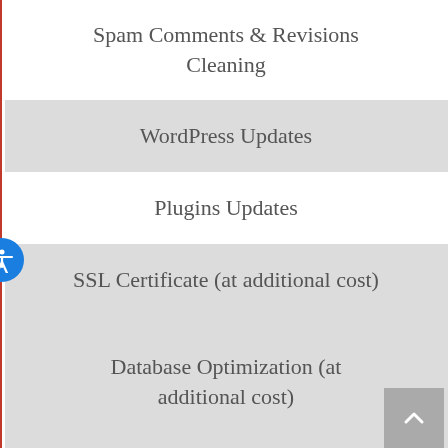Spam Comments & Revisions Cleaning
WordPress Updates
Plugins Updates
SSL Certificate (at additional cost)
Malware & Virus Cleanup (at additional cost)
Database Optimization (at additional cost)